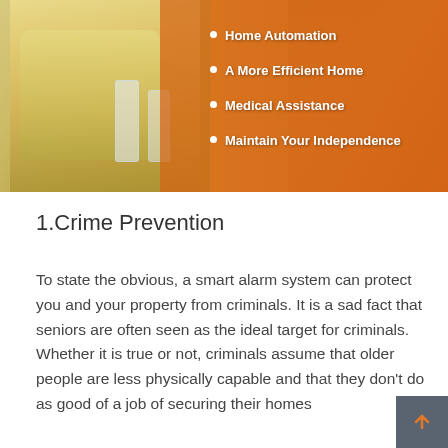[Figure (infographic): Banner image showing an elderly person dining at a table with glasses of water, overlaid with an orange semi-transparent panel on the right listing bullet points about home security benefits.]
Home Automation
A More Efficient Home
Medical Assistance
Maintain Your Independence
1.Crime Prevention
To state the obvious, a smart alarm system can protect you and your property from criminals. It is a sad fact that seniors are often seen as the ideal target for criminals. Whether it is true or not, criminals assume that older people are less physically capable and that they don't do as good of a job of securing their homes